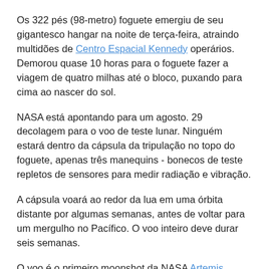Os 322 pés (98-metro) foguete emergiu de seu gigantesco hangar na noite de terça-feira, atraindo multidões de Centro Espacial Kennedy operários. Demorou quase 10 horas para o foguete fazer a viagem de quatro milhas até o bloco, puxando para cima ao nascer do sol.
NASA está apontando para um agosto. 29 decolagem para o voo de teste lunar. Ninguém estará dentro da cápsula da tripulação no topo do foguete, apenas três manequins - bonecos de teste repletos de sensores para medir radiação e vibração.
A cápsula voará ao redor da lua em uma órbita distante por algumas semanas, antes de voltar para um mergulho no Pacífico. O voo inteiro deve durar seis semanas.
O voo é o primeiro moonshot da NASA Artemis programa. A agência espacial tem como objetivo um voo em órbita lunar